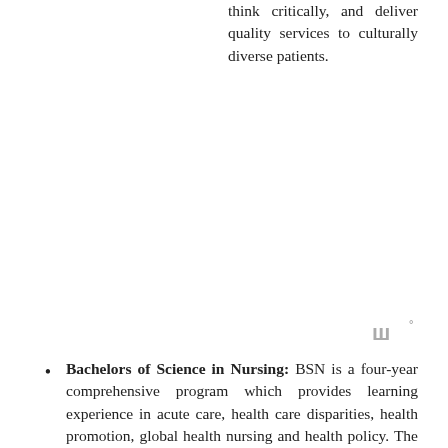think critically, and deliver quality services to culturally diverse patients.
[Figure (logo): Small decorative watermark symbol in grey, resembling stylized letter W with a degree symbol]
Bachelors of Science in Nursing: BSN is a four-year comprehensive program which provides learning experience in acute care, health care disparities, health promotion, global health nursing and health policy. The curriculum gives a strong foundation in